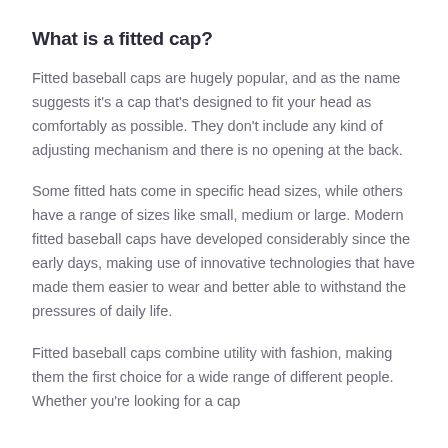What is a fitted cap?
Fitted baseball caps are hugely popular, and as the name suggests it's a cap that's designed to fit your head as comfortably as possible. They don't include any kind of adjusting mechanism and there is no opening at the back.
Some fitted hats come in specific head sizes, while others have a range of sizes like small, medium or large. Modern fitted baseball caps have developed considerably since the early days, making use of innovative technologies that have made them easier to wear and better able to withstand the pressures of daily life.
Fitted baseball caps combine utility with fashion, making them the first choice for a wide range of different people. Whether you're looking for a cap